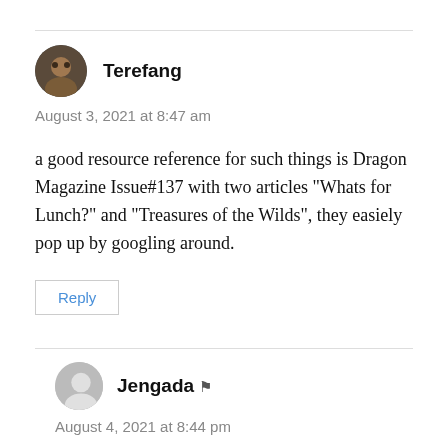[Figure (illustration): Avatar photo of user Terefang — circular profile picture showing a person's face]
Terefang
August 3, 2021 at 8:47 am
a good resource reference for such things is Dragon Magazine Issue#137 with two articles “Whats for Lunch?” and “Treasures of the Wilds”, they easiely pop up by googling around.
Reply
[Figure (illustration): Gray default avatar circle for user Jengada]
Jengada
August 4, 2021 at 8:44 pm
The comment text for Jengada is cut off at the bottom of the page